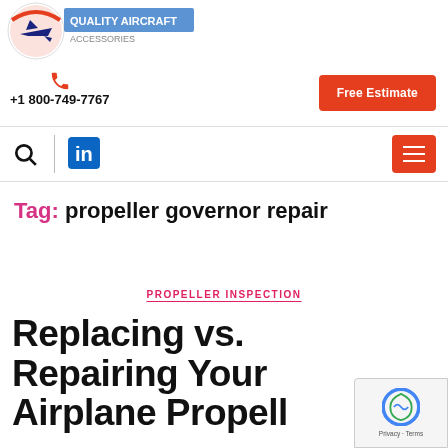[Figure (logo): Aviation company logo with red/blue airplane icon in circular emblem]
+1 800-749-7767
Free Estimate
[Figure (infographic): Navigation bar with search icon, vertical divider, LinkedIn icon, and hamburger menu button]
Tag: propeller governor repair
PROPELLER INSPECTION
Replacing vs. Repairing Your Airplane Propell